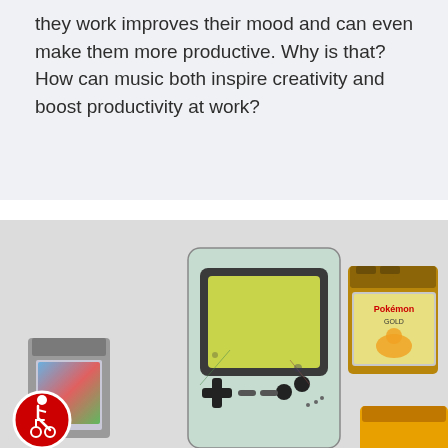they work improves their mood and can even make them more productive. Why is that? How can music both inspire creativity and boost productivity at work?
[Figure (photo): Photo of a clear Game Boy Color handheld console with a yellow-green screen, flanked by two Game Boy cartridges (one gray on the left, one gold Pokemon cartridge on the upper right, and one yellow cartridge partially visible at the lower right). An accessibility icon (wheelchair symbol in a red circle) is visible in the lower left corner.]